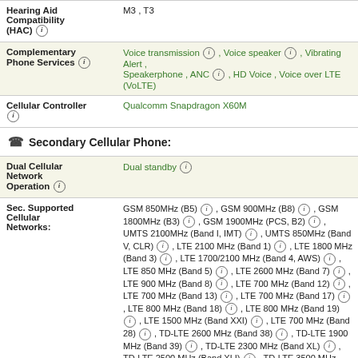| Hearing Aid Compatibility (HAC) ⓘ | M3 , T3 |
| Complementary Phone Services ⓘ | Voice transmission ⓘ , Voice speaker ⓘ , Vibrating Alert , Speakerphone , ANC ⓘ , HD Voice , Voice over LTE (VoLTE) |
| Cellular Controller ⓘ | Qualcomm Snapdragon X60M |
Secondary Cellular Phone:
| Dual Cellular Network Operation ⓘ | Dual standby ⓘ |
| Sec. Supported Cellular Networks: | GSM 850MHz (B5) ⓘ , GSM 900MHz (B8) ⓘ , GSM 1800MHz (B3) ⓘ , GSM 1900MHz (PCS, B2) ⓘ , UMTS 2100MHz (Band I, IMT) ⓘ , UMTS 850MHz (Band V, CLR) ⓘ , LTE 2100 MHz (Band 1) ⓘ , LTE 1800 MHz (Band 3) ⓘ , LTE 1700/2100 MHz (Band 4, AWS) ⓘ , LTE 850 MHz (Band 5) ⓘ , LTE 2600 MHz (Band 7) ⓘ , LTE 900 MHz (Band 8) ⓘ , LTE 700 MHz (Band 12) ⓘ , LTE 700 MHz (Band 13) ⓘ , LTE 700 MHz (Band 17) ⓘ , LTE 800 MHz (Band 18) ⓘ , LTE 800 MHz (Band 19) ⓘ , LTE 1500 MHz (Band XXI) ⓘ , LTE 700 MHz (Band 28) ⓘ , TD-LTE 2600 MHz (Band 38) ⓘ , TD-LTE 1900 MHz (Band 39) ⓘ , TD-LTE 2300 MHz (Band XL) ⓘ , TD-LTE 2500 MHz (Band XLI) ⓘ , TD-LTE 3500 MHz (Band XLII) ⓘ , NR 1800 MHz (N3) ⓘ , |